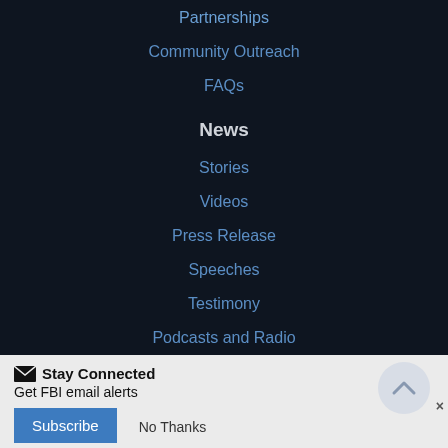Partnerships
Community Outreach
FAQs
News
Stories
Videos
Press Release
Speeches
Testimony
Podcasts and Radio
Stay Connected
Get FBI email alerts
Subscribe   No Thanks